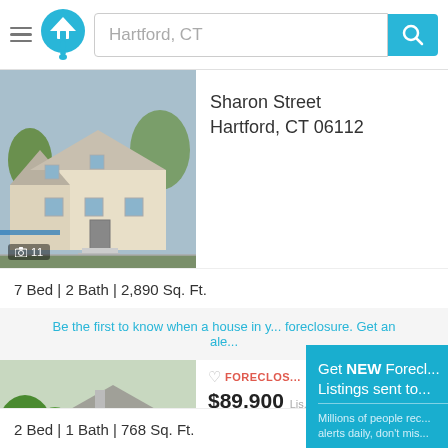[Figure (screenshot): App header with hamburger menu, home logo icon, search bar with 'Hartford, CT', and cyan search button]
[Figure (photo): Exterior photo of a two-story house on Sharon Street, Hartford CT. Photo count badge shows 11.]
Sharon Street
Hartford, CT 06112
7 Bed | 2 Bath | 2,890 Sq. Ft.
Be the first to know when a house in y... foreclosure. Get an ale...
[Figure (photo): Exterior photo of a small white cottage-style house on E Euclid St, Hartford CT. Photo count badge shows 10.]
FORECLOSURE
$89,900 Lis...
E Euclid St
Hartford, CT 0...
2 Bed | 1 Bath | 768 Sq. Ft.
[Figure (screenshot): Popup overlay: 'Get NEW Forecl... Listings sent to...' with Signup Here button and No Thanks | Remind... text]
View Details